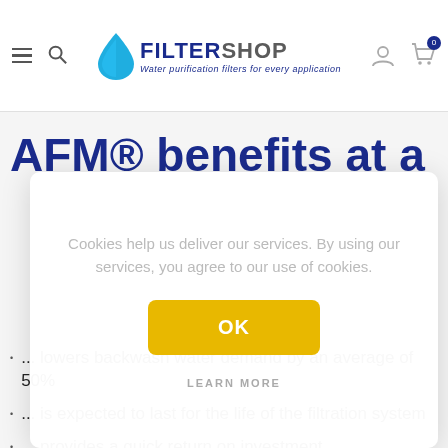FILTERSHOP — Water purification filters for every application
AFM® benefits at a
Cookies help us deliver our services. By using our services, you agree to our use of cookies.
OK
LEARN MORE
... lowers backwash water demand by an average of 50%
... is expected to last for the life of the filtration system
... provides a quick return on investment